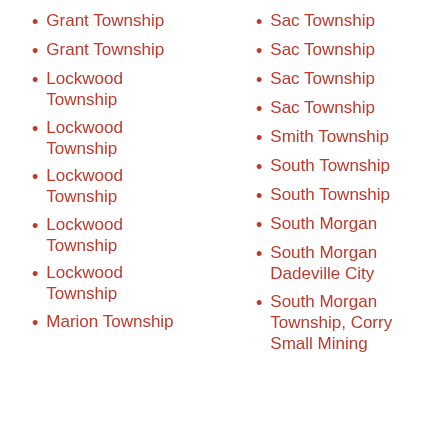Grant Township
Grant Township
Lockwood Township
Lockwood Township
Lockwood Township
Lockwood Township
Lockwood Township
Marion Township
Sac Township
Sac Township
Sac Township
Sac Township
Smith Township
South Township
South Township
South Morgan
South Morgan Dadeville City
South Morgan Township, Corry Small Mining